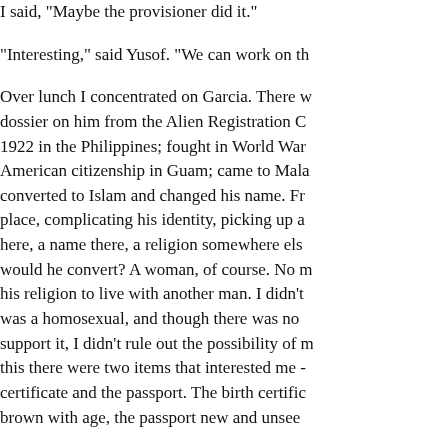I said, "Maybe the provisioner did it."
"Interesting," said Yusof. "We can work on th…
Over lunch I concentrated on Garcia. There w… dossier on him from the Alien Registration C… 1922 in the Philippines; fought in World War… American citizenship in Guam; came to Mala… converted to Islam and changed his name. Fr… place, complicating his identity, picking up a… here, a name there, a religion somewhere els… would he convert? A woman, of course. No m… his religion to live with another man. I didn't … was a homosexual, and though there was no … support it, I didn't rule out the possibility of m… this there were two items that interested me -… certificate and the passport. The birth certific… brown with age, the passport new and unsee…
Why would a man who had changed his relig… in a country for nearly twenty years have a n…
After lunch I rang police headquarters and as…